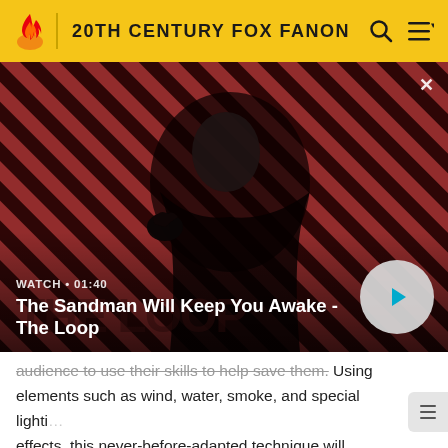20TH CENTURY FOX FANON
[Figure (screenshot): Video thumbnail for 'The Sandman Will Keep You Awake - The Loop' showing a dark-cloaked figure with a raven on shoulder against a red and black striped background. Duration shown as 01:40.]
WATCH • 01:40
The Sandman Will Keep You Awake - The Loop
audience to use their skills to help save them. Using elements such as wind, water, smoke, and special lighting effects, this never-before-adapted technique will depict a series of immersive and visually dynamic scenic designs that will transform within the interior space and enhance the story. The Fox Animation Theatre will include a